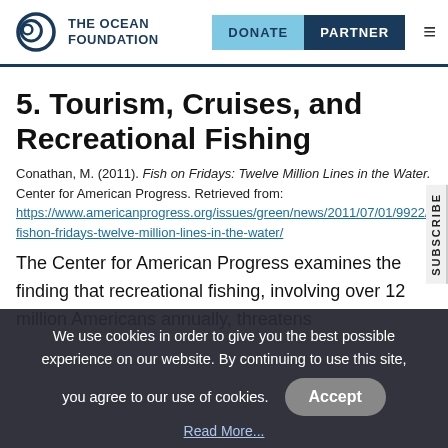The Ocean Foundation | DONATE | PARTNER
5. Tourism, Cruises, and Recreational Fishing
Conathan, M. (2011). Fish on Fridays: Twelve Million Lines in the Water. Center for American Progress. Retrieved from: https://www.americanprogress.org/issues/green/news/2011/07/01/9922/fishon-fridays-twelve-million-lines-in-the-water/
The Center for American Progress examines the finding that recreational fishing, involving over 12 million Americans annually, threatens
We use cookies in order to give you the best possible experience on our website. By continuing to use this site, you agree to our use of cookies.
Read More...